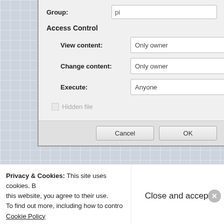[Figure (screenshot): Raspbian File Manager Properties Menu – Permissions Tab showing Group field with 'pi', Access Control section with dropdowns: View content (Only owner), Change content (Only owner), Execute (Anyone), and a Hidden file checkbox. Cancel and OK buttons at the bottom.]
Raspbian File Manager – Properties Menu – Permissions Tab
Privacy & Cookies: This site uses cookies. By continuing to use this website, you agree to their use. To find out more, including how to control cookies, see here: Cookie Policy
Close and accept